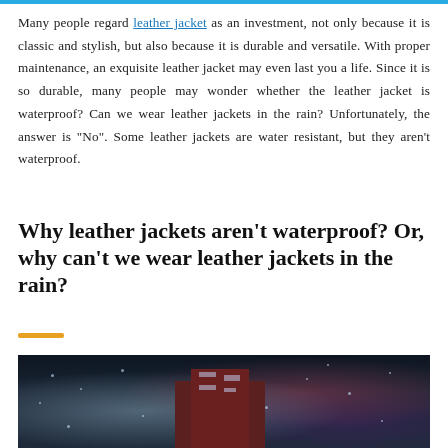Many people regard leather jacket as an investment, not only because it is classic and stylish, but also because it is durable and versatile. With proper maintenance, an exquisite leather jacket may even last you a life. Since it is so durable, many people may wonder whether the leather jacket is waterproof? Can we wear leather jackets in the rain? Unfortunately, the answer is "No". Some leather jackets are water resistant, but they aren't waterproof.
Why leather jackets aren't waterproof? Or, why can't we wear leather jackets in the rain?
[Figure (photo): Dark, rain-splattered photo showing a rainy street scene at night with blurred building and rain droplets visible]